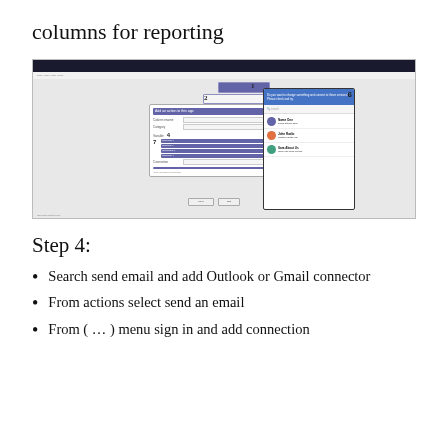columns for reporting
[Figure (screenshot): Screenshot of a Microsoft Power Automate or similar workflow tool showing a dialog with numbered callouts 1-7 and a popup panel (callout 6) showing a people picker with a blue header and list of contacts.]
Step 4:
Search send email and add Outlook or Gmail connector
From actions select send an email
From ( … ) menu sign in and add connection